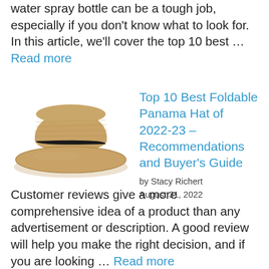water spray bottle can be a tough job, especially if you don't know what to look for. In this article, we'll cover the top 10 best … Read more
[Figure (photo): A tan woven straw Panama hat with a black band, viewed from a slightly elevated angle.]
Top 10 Best Foldable Panama Hat of 2022-23 – Recommendations and Buyer's Guide
by Stacy Richert
August 31, 2022
Customer reviews give a more comprehensive idea of a product than any advertisement or description. A good review will help you make the right decision, and if you are looking … Read more